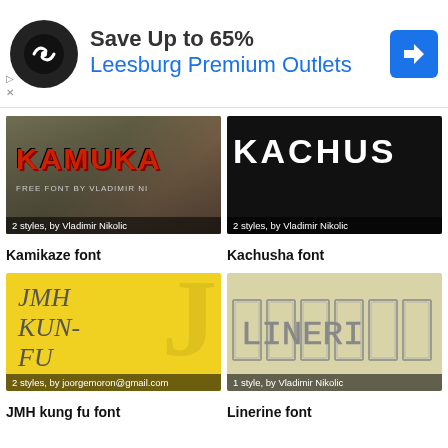[Figure (screenshot): Advertisement banner for Leesburg Premium Outlets showing logo, 'Save Up to 65%' text, outlet name in blue, and navigation arrow icon]
[Figure (screenshot): Kamikaze font preview image showing stylized red text on dark photo background, labeled '2 styles, by Vladimir Nikolic']
Kamikaze font
[Figure (screenshot): Kachusha font preview image showing bold white text on black background, labeled '2 styles, by Vladimir Nikolic']
Kachusha font
[Figure (screenshot): JMH kung fu font preview image showing hand-drawn style text on yellow background, labeled '2 styles, by joorgemoron@gmail.com']
JMH kung fu font
[Figure (screenshot): Linerine font preview image showing decorative outlined text on beige background, labeled '1 style, by Vladimir Nikolic']
Linerine font